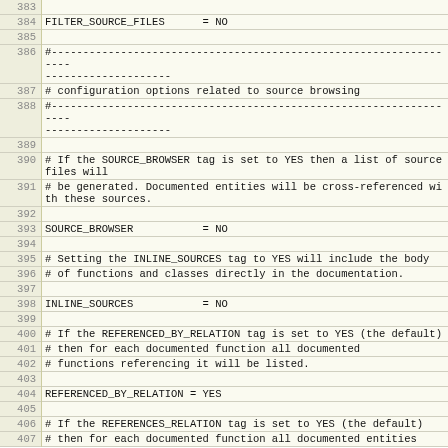Code listing lines 383-407 of a Doxygen configuration file
| Line | Code |
| --- | --- |
| 383 |  |
| 384 | FILTER_SOURCE_FILES      = NO |
| 385 |  |
| 386 | #------------------------------------------------------------------
-------------------- |
| 387 | # configuration options related to source browsing |
| 388 | #------------------------------------------------------------------
-------------------- |
| 389 |  |
| 390 | # If the SOURCE_BROWSER tag is set to YES then a list of source files will |
| 391 | # be generated. Documented entities will be cross-referenced with these sources. |
| 392 |  |
| 393 | SOURCE_BROWSER           = NO |
| 394 |  |
| 395 | # Setting the INLINE_SOURCES tag to YES will include the body |
| 396 | # of functions and classes directly in the documentation. |
| 397 |  |
| 398 | INLINE_SOURCES           = NO |
| 399 |  |
| 400 | # If the REFERENCED_BY_RELATION tag is set to YES (the default) |
| 401 | # then for each documented function all documented |
| 402 | # functions referencing it will be listed. |
| 403 |  |
| 404 | REFERENCED_BY_RELATION = YES |
| 405 |  |
| 406 | # If the REFERENCES_RELATION tag is set to YES (the default) |
| 407 | # then for each documented function all documented entities |